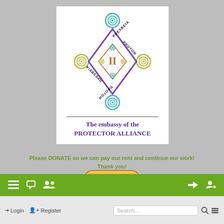[Figure (logo): Logo of the Protector Alliance / Embassy — a rotated diamond/square shape with spiral decorations at each corner, teal and yellow-green spirals, purple diamond outline, smaller inner diamond with Roman numeral II, text PRESBEIA PROTON and ПРЕSBEIA ПРОТОН around the edges]
The embassy of the PROTECTOR ALLIANCE
Please DONATE so we can pay our rent and continue our work! Thank you!
[Figure (infographic): Donate button (gold/orange rounded rectangle with bold italic Donate text) and payment icons (MasterCard, VISA, a blue card, JCB, BANK)]
€350 donated   Needed:3000€
Login   Register   Search...